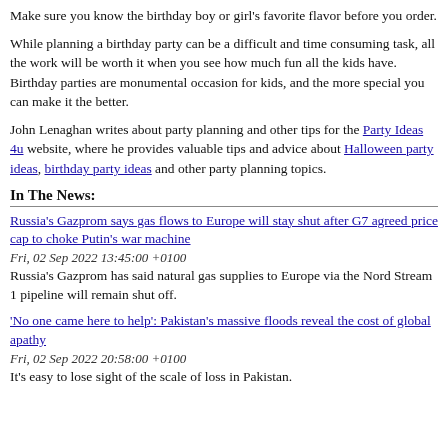Make sure you know the birthday boy or girl's favorite flavor before you order.
While planning a birthday party can be a difficult and time consuming task, all the work will be worth it when you see how much fun all the kids have. Birthday parties are monumental occasion for kids, and the more special you can make it the better.
John Lenaghan writes about party planning and other tips for the Party Ideas 4u website, where he provides valuable tips and advice about Halloween party ideas, birthday party ideas and other party planning topics.
In The News:
Russia's Gazprom says gas flows to Europe will stay shut after G7 agreed price cap to choke Putin's war machine
Fri, 02 Sep 2022 13:45:00 +0100
Russia's Gazprom has said natural gas supplies to Europe via the Nord Stream 1 pipeline will remain shut off.
'No one came here to help': Pakistan's massive floods reveal the cost of global apathy
Fri, 02 Sep 2022 20:58:00 +0100
It's easy to lose sight of the scale of loss in Pakistan.